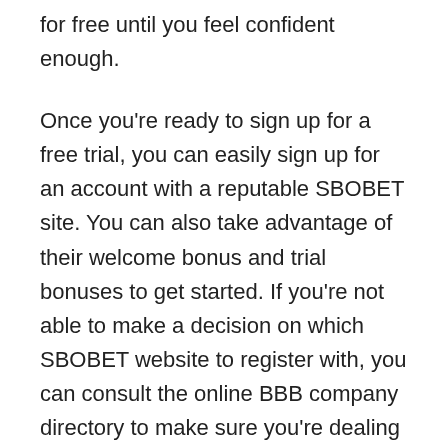for free until you feel confident enough.
Once you're ready to sign up for a free trial, you can easily sign up for an account with a reputable SBOBET site. You can also take advantage of their welcome bonus and trial bonuses to get started. If you're not able to make a decision on which SBOBET website to register with, you can consult the online BBB company directory to make sure you're dealing with a legitimate site.
Having a free trial account is a great way to get a feel for gambling, and to practice betting strategies. You'll be able to watch live streams of many sports events, as well